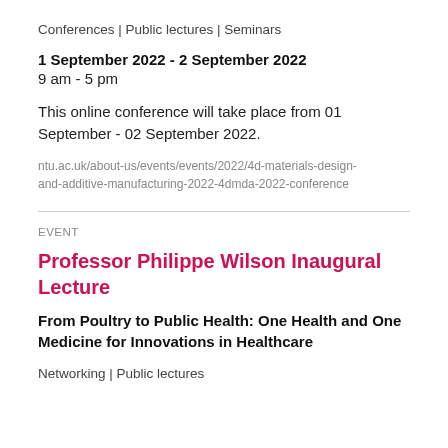Conferences | Public lectures | Seminars
1 September 2022 - 2 September 2022
9 am - 5 pm
This online conference will take place from 01 September - 02 September 2022.
ntu.ac.uk/about-us/events/events/2022/4d-materials-design-and-additive-manufacturing-2022-4dmda-2022-conference
EVENT
Professor Philippe Wilson Inaugural Lecture
From Poultry to Public Health: One Health and One Medicine for Innovations in Healthcare
Networking | Public lectures